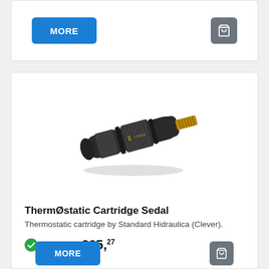MORE
[Figure (photo): ThermØstatic Cartridge Sedal product photo — a cylindrical black thermostatic cartridge with knurled sections and a brass splined shaft on the right end.]
ThermØstatic Cartridge Sedal
Thermostatic cartridge by Standard Hidraulica (Clever).
In stock  €65,27
MORE